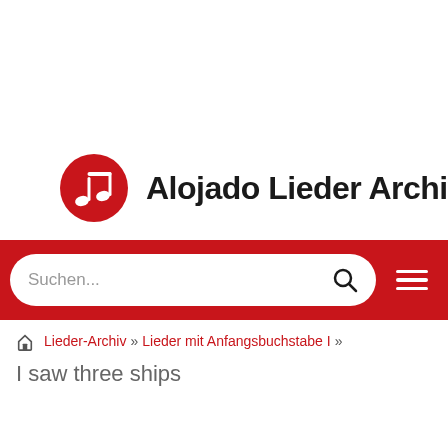[Figure (logo): Alojado Lieder Archiv logo: red circle with white music note icon, followed by bold text 'Alojado Lieder Archiv']
Suchen...
Lieder-Archiv » Lieder mit Anfangsbuchstabe I »
I saw three ships